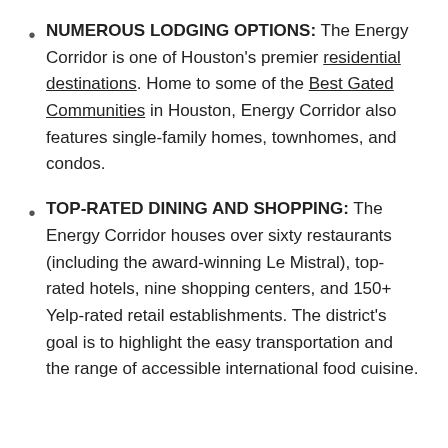NUMEROUS LODGING OPTIONS: The Energy Corridor is one of Houston's premier residential destinations. Home to some of the Best Gated Communities in Houston, Energy Corridor also features single-family homes, townhomes, and condos.
TOP-RATED DINING AND SHOPPING: The Energy Corridor houses over sixty restaurants (including the award-winning Le Mistral), top-rated hotels, nine shopping centers, and 150+ Yelp-rated retail establishments. The district's goal is to highlight the easy transportation and the range of accessible international food cuisine.